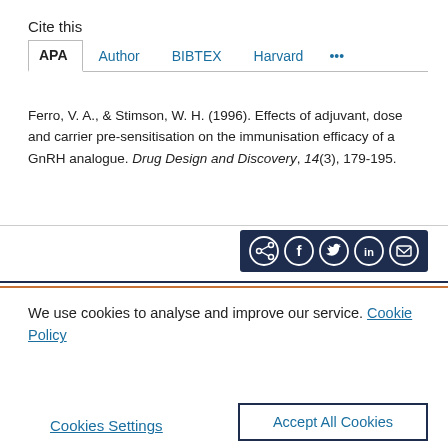Cite this
APA | Author | BIBTEX | Harvard | ...
Ferro, V. A., & Stimson, W. H. (1996). Effects of adjuvant, dose and carrier pre-sensitisation on the immunisation efficacy of a GnRH analogue. Drug Design and Discovery, 14(3), 179-195.
[Figure (other): Social sharing icon bar with share, Facebook, Twitter, LinkedIn, and email icons on dark navy background]
We use cookies to analyse and improve our service. Cookie Policy
Cookies Settings
Accept All Cookies